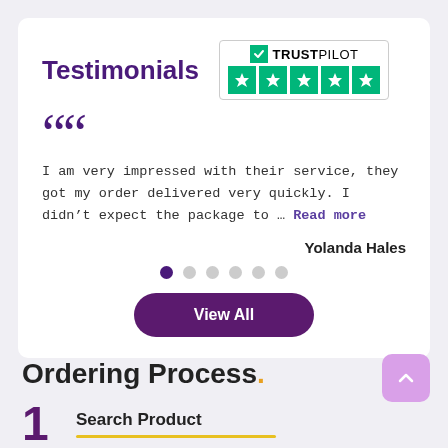Testimonials
[Figure (logo): Trustpilot logo with 5 green stars]
“I am very impressed with their service, they got my order delivered very quickly. I didn’t expect the package to … Read more
Yolanda Hales
[Figure (other): Carousel dot indicators, 6 dots with first active]
View All
Ordering Process.
1 Search Product